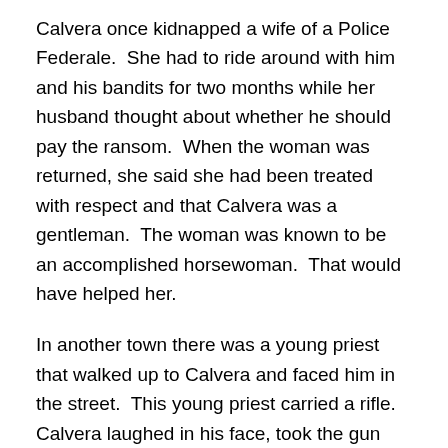Calvera once kidnapped a wife of a Police Federale.  She had to ride around with him and his bandits for two months while her husband thought about whether he should pay the ransom.  When the woman was returned, she said she had been treated with respect and that Calvera was a gentleman.  The woman was known to be an accomplished horsewoman.  That would have helped her.
In another town there was a young priest that walked up to Calvera and faced him in the street.  This young priest carried a rifle.  Calvera laughed in his face, took the gun away and dragged the brave priest back to the church.  The poor priest was fastened to the desk where every week he wrote his sermons.  Calvera put the testicles of the priest into the drawer of the desk, locked the drawer and then left a knife on top of the desk.  Calvera told the priest to be a man and set himself free.  As he walked